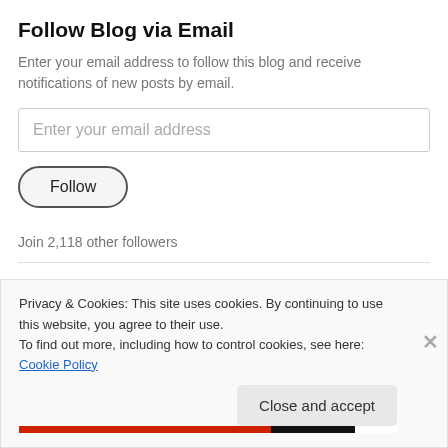Follow Blog via Email
Enter your email address to follow this blog and receive notifications of new posts by email.
[Figure (screenshot): Email input field with placeholder text 'Enter your email address']
[Figure (screenshot): Follow button with rounded border]
Join 2,118 other followers
•
Privacy & Cookies: This site uses cookies. By continuing to use this website, you agree to their use.
To find out more, including how to control cookies, see here: Cookie Policy
Close and accept